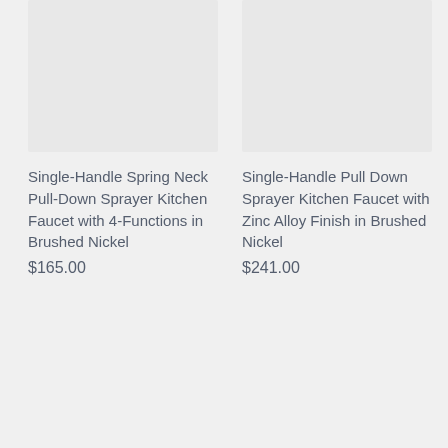[Figure (photo): Product image placeholder (light gray rectangle) for Single-Handle Spring Neck Pull-Down Sprayer Kitchen Faucet]
Single-Handle Spring Neck Pull-Down Sprayer Kitchen Faucet with 4-Functions in Brushed Nickel
$165.00
[Figure (photo): Product image placeholder (light gray rectangle) for Single-Handle Pull Down Sprayer Kitchen Faucet with Zinc Alloy Finish]
Single-Handle Pull Down Sprayer Kitchen Faucet with Zinc Alloy Finish in Brushed Nickel
$241.00